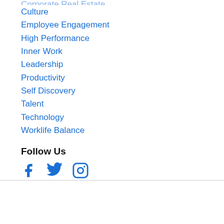Corporate Real Estate (partially visible)
Culture
Employee Engagement
High Performance
Inner Work
Leadership
Productivity
Self Discovery
Talent
Technology
Worklife Balance
Follow Us
[Figure (illustration): Social media icons: Facebook, Twitter, Instagram in blue]